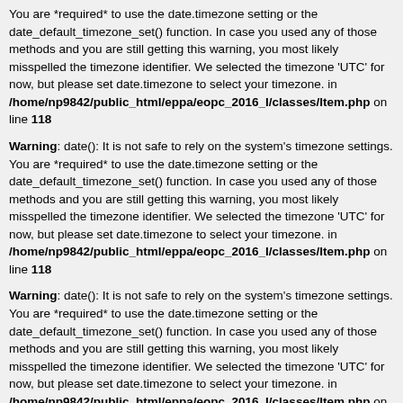You are *required* to use the date.timezone setting or the date_default_timezone_set() function. In case you used any of those methods and you are still getting this warning, you most likely misspelled the timezone identifier. We selected the timezone 'UTC' for now, but please set date.timezone to select your timezone. in /home/np9842/public_html/eppa/eopc_2016_I/classes/Item.php on line 118
Warning: date(): It is not safe to rely on the system's timezone settings. You are *required* to use the date.timezone setting or the date_default_timezone_set() function. In case you used any of those methods and you are still getting this warning, you most likely misspelled the timezone identifier. We selected the timezone 'UTC' for now, but please set date.timezone to select your timezone. in /home/np9842/public_html/eppa/eopc_2016_I/classes/Item.php on line 118
Warning: date(): It is not safe to rely on the system's timezone settings. You are *required* to use the date.timezone setting or the date_default_timezone_set() function. In case you used any of those methods and you are still getting this warning, you most likely misspelled the timezone identifier. We selected the timezone 'UTC' for now, but please set date.timezone to select your timezone. in /home/np9842/public_html/eppa/eopc_2016_I/classes/Item.php on line 118
Warning: date(): It is not safe to rely on the system's timezone settings. You are *required* to use the date.timezone setting or the date_default_timezone_set() function. In case you used any of those methods and you are still getting this warning, you most likely misspelled